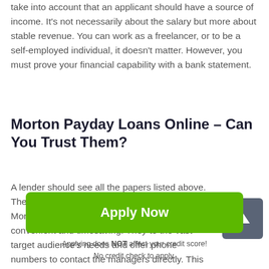take into account that an applicant should have a source of income. It's not necessarily about the salary but more about stable revenue. You can work as a freelancer, or to be a self-employed individual, it doesn't matter. However, you must prove your financial capability with a bank statement.
Morton Payday Loans Online – Can You Trust Them?
A lender should see all the papers listed above. There are also many online payday loans Morton in Illinois nowadays. They are convenient and timesaving. They to the vast target audience's needs and offer phone numbers to contact the managers directly. This option is
Apply Now
Applying does NOT affect your credit score!
No credit check to apply.